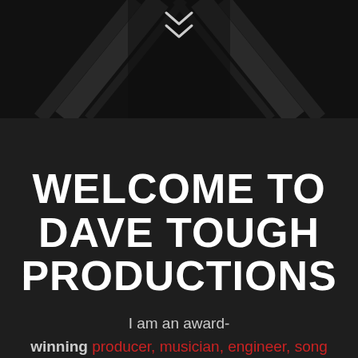[Figure (photo): Dark hero image with diagonal lines and a double chevron/arrow icon in the center top area, dark moody background suggesting a person silhouette]
WELCOME TO DAVE TOUGH PRODUCTIONS
I am an award-winning producer, musician, engineer, song